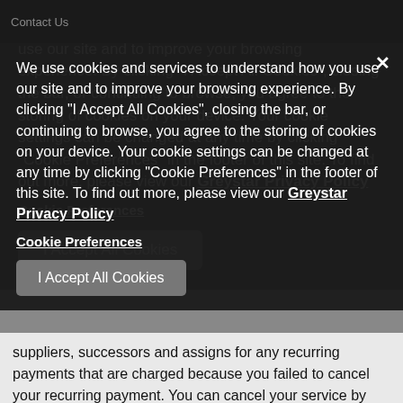Contact Us
We use cookies and services to understand how you use our site and to improve your browsing experience. By clicking "I Accept All Cookies", closing the bar, or continuing to browse, you agree to the storing of cookies on your device. Your cookie settings can be changed at any time by clicking "Cookie Preferences" in the footer of this site. To find out more, please view our Greystar Privacy Policy
Cookie Preferences
I Accept All Cookies
assessed to your billing account during the period designated for recurring payments to take place. You agree to defend, indemnify and hold harmless Entrata, Property Management Company, their affiliates, licensors d its and their respective officers, ntractors, agents, licensors, suppliers, successors and assigns for any recurring payments that are charged because you failed to cancel your recurring payment. You can cancel your service by contacting your Property Management Company. We, in our sole discretion, may cancel this service without notice.
7.11 If you believe a transaction was made improperly, we